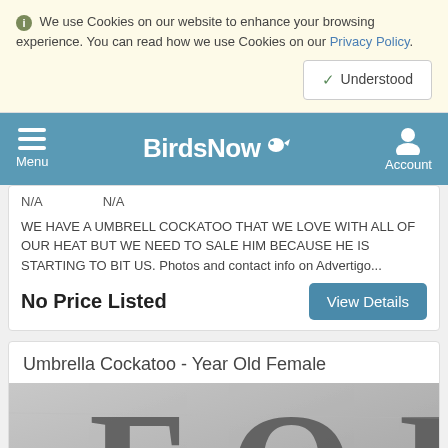We use Cookies on our website to enhance your browsing experience. You can read how we use Cookies on our Privacy Policy.
Understood
BirdsNow - Menu - Account
N/A	N/A
WE HAVE A UMBRELL COCKATOO THAT WE LOVE WITH ALL OF OUR HEAT BUT WE NEED TO SALE HIM BECAUSE HE IS STARTING TO BIT US. Photos and contact info on Advertigo...
No Price Listed
View Details
Umbrella Cockatoo - Year Old Female
[Figure (photo): Grayscale photo showing large text letters 'FO' (or similar) on a surface, partially visible]